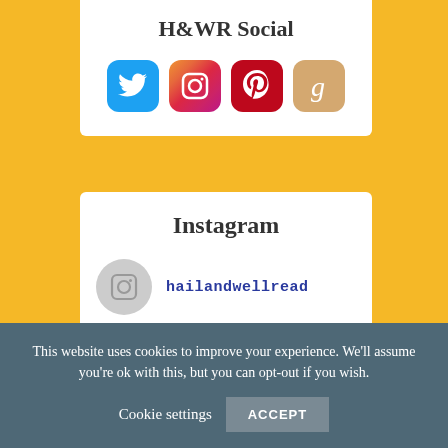H&WR Social
[Figure (illustration): Four social media icon buttons in a row: Twitter (blue bird), Instagram (gradient camera), Pinterest (red P), Goodreads (tan g)]
Instagram
hailandwellread
[Figure (photo): Partial view of a blue floral/ink image at the bottom of the Instagram card]
This website uses cookies to improve your experience. We'll assume you're ok with this, but you can opt-out if you wish.
Cookie settings   ACCEPT